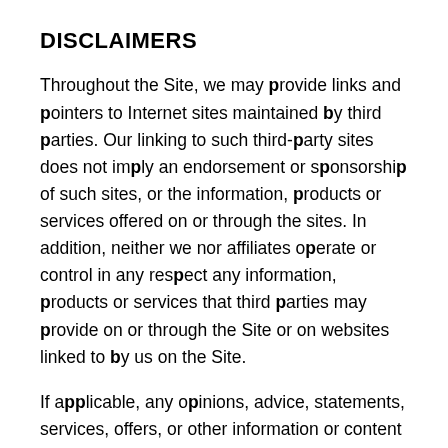DISCLAIMERS
Throughout the Site, we may provide links and pointers to Internet sites maintained by third parties. Our linking to such third-party sites does not imply an endorsement or sponsorship of such sites, or the information, products or services offered on or through the sites. In addition, neither we nor affiliates operate or control in any respect any information, products or services that third parties may provide on or through the Site or on websites linked to by us on the Site.
If applicable, any opinions, advice, statements, services, offers, or other information or content expressed or made available by third parties, including